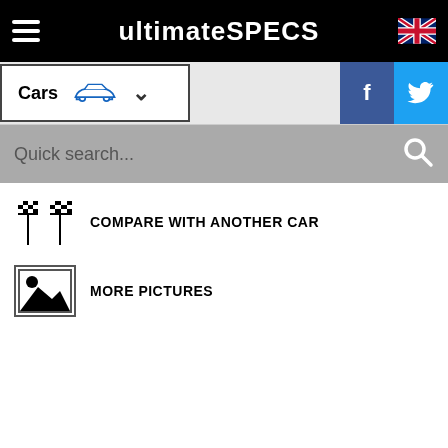ultimateSPECS
Cars
Quick search...
COMPARE WITH ANOTHER CAR
MORE PICTURES